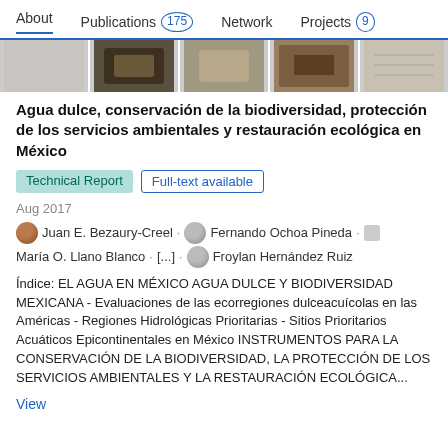About   Publications 175   Network   Projects 9
[Figure (photo): Strip of five small nature/map thumbnail images]
Agua dulce, conservación de la biodiversidad, protección de los servicios ambientales y restauración ecológica en México
Technical Report   Full-text available
Aug 2017
Juan E. Bezaury-Creel · Fernando Ochoa Pineda · María O. Llano Blanco · [...] · Froylan Hernández Ruiz
Índice: EL AGUA EN MÉXICO AGUA DULCE Y BIODIVERSIDAD MEXICANA - Evaluaciones de las ecorregiones dulceacuícolas en las Américas - Regiones Hidrológicas Prioritarias - Sitios Prioritarios Acuáticos Epicontinentales en México INSTRUMENTOS PARA LA CONSERVACIÓN DE LA BIODIVERSIDAD, LA PROTECCIÓN DE LOS SERVICIOS AMBIENTALES Y LA RESTAURACIÓN ECOLÓGICA...
View